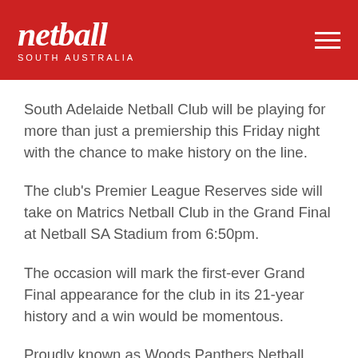netball SOUTH AUSTRALIA
South Adelaide Netball Club will be playing for more than just a premiership this Friday night with the chance to make history on the line.
The club's Premier League Reserves side will take on Matrics Netball Club in the Grand Final at Netball SA Stadium from 6:50pm.
The occasion will mark the first-ever Grand Final appearance for the club in its 21-year history and a win would be momentous.
Proudly known as Woods Panthers Netball Club for the first 20 years, the club changed its name from...